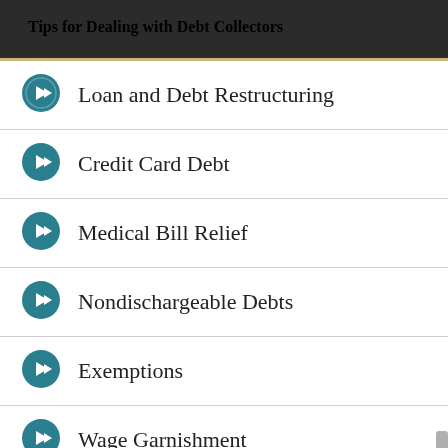Tips for Dealing with Debt Collectors
Loan and Debt Restructuring
Credit Card Debt
Medical Bill Relief
Nondischargeable Debts
Exemptions
Wage Garnishment
Repossession
Bankruptcy and Immigration